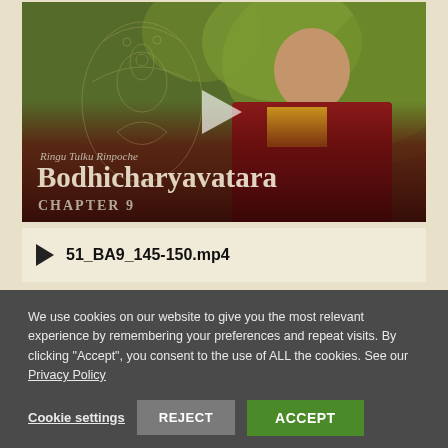[Figure (screenshot): Video thumbnail showing Ringu Tulku Rinpoche in red robes against a green leafy background with a Buddha line art overlay. Dark red gradient overlay at bottom with text: Ringu Tulku Rinpoche, Bodhicharyavatara, CHAPTER 9. A play button triangle is visible in center.]
51_BA9_145-150.mp4
We use cookies on our website to give you the most relevant experience by remembering your preferences and repeat visits. By clicking "Accept", you consent to the use of ALL the cookies. See our Privacy Policy
Cookie settings   REJECT   ACCEPT